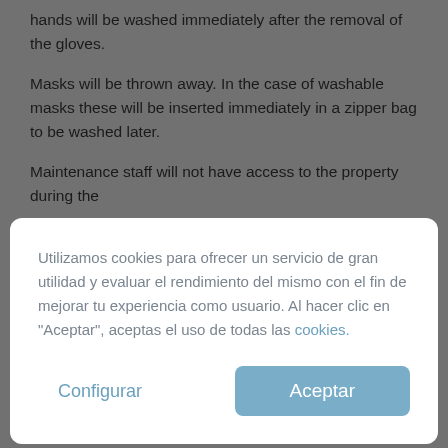hands will be washed immediately after the removal of the gloves.
Masks will be thrown away. In the case of washable masks these will be inserted immediately in a zipper bag to be washed later.
Maintenance staff will not have access to the property during the
Utilizamos cookies para ofrecer un servicio de gran utilidad y evaluar el rendimiento del mismo con el fin de mejorar tu experiencia como usuario. Al hacer clic en "Aceptar", aceptas el uso de todas las cookies.
Configurar
Aceptar